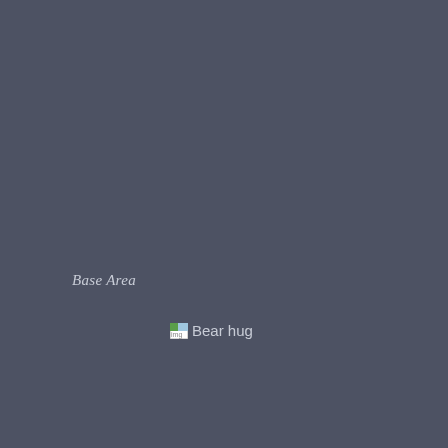Base Area
[Figure (photo): Broken/missing image placeholder with alt text 'Bear hug']